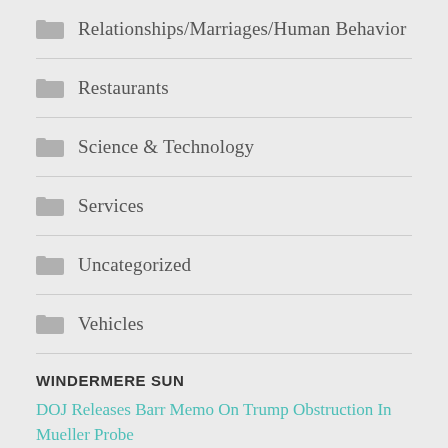Relationships/Marriages/Human Behavior
Restaurants
Science & Technology
Services
Uncategorized
Vehicles
WINDERMERE SUN
DOJ Releases Barr Memo On Trump Obstruction In Mueller Probe
AUGUST 26, 2022
Dear Friends & Neighbors, (Please click on red links & note